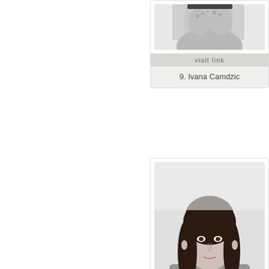[Figure (photo): Partial top card showing cropped black-and-white portrait of Ivana Camdzic (body cropped), with visit link bar and name label]
visit link
9. Ivana Camdzic
[Figure (photo): Black-and-white portrait photo of Lea Lawson, a woman with long dark hair wearing a coat, looking at the camera]
visit link
13. Lea Lawson
[Figure (photo): Partial black-and-white portrait of a woman with dark hair, cropped at bottom of page]